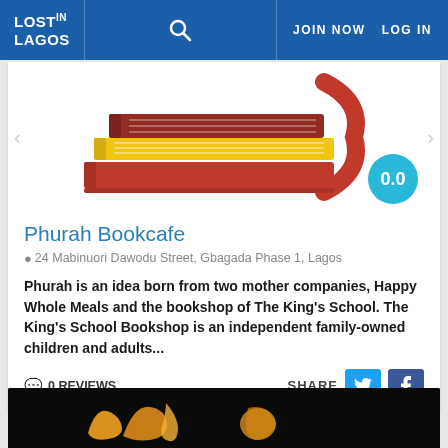LOST IN LAGOS | JOIN NOW | LOG IN
[Figure (illustration): Stacked books illustration with red book on bottom, yellow book in middle, and dark red book on top, with a red curved spine. Rating bubble showing 0.0 in teal/cyan circle.]
Phurah Bookcafe
24 Mabinuori Dawodu Street, Gbagada Phase 1, Lagos
Phurah is an idea born from two mother companies, Happy Whole Meals and the bookshop of The King's School. The King's School Bookshop is an independent family-owned children and adults...
0 REVIEWS
[Figure (photo): Partial view of a dark/black background image with golden cursive lettering, appears to be a logo or signage for another listing.]